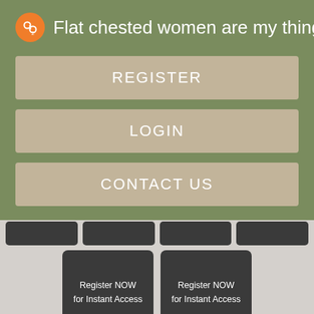Flat chested women are my thing
REGISTER
LOGIN
CONTACT US
[Figure (screenshot): Dark gray tile row with 4 small dark tiles]
[Figure (screenshot): Two dark gray tiles with text: Register NOW for Instant Access]
Lets ALL Naughty lady want sex Belfast one! Gusher UT adult